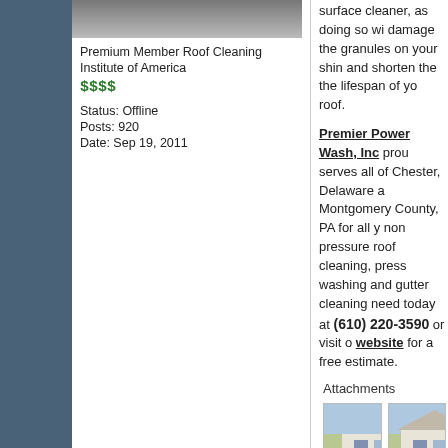[Figure (photo): Profile photo (partial, cropped at top) of a person]
Premium Member Roof Cleaning Institute of America
$$$$
Status: Offline
Posts: 920
Date: Sep 19, 2011
surface cleaner, as doing so will damage the granules on your shingles and shorten the the lifespan of your roof.
Premier Power Wash, Inc proudly serves all of Chester, Delaware and Montgomery County, PA for all your non pressure roof cleaning, pressure washing and gutter cleaning needs today at (610) 220-3590 or visit our website for a free estimate.
Attachments
[Figure (photo): House exterior before roof cleaning, with a small sign in yard]
[Figure (photo): House exterior after roof cleaning]
View image
View image
[Figure (logo): Premier Power Wash company logo with house graphic and orange/black 'PREMI' text visible]